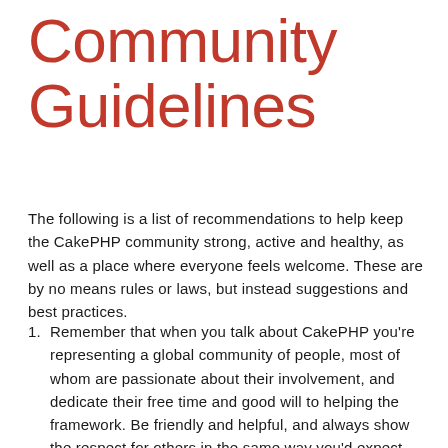Community Guidelines
The following is a list of recommendations to help keep the CakePHP community strong, active and healthy, as well as a place where everyone feels welcome. These are by no means rules or laws, but instead suggestions and best practices.
Remember that when you talk about CakePHP you're representing a global community of people, most of whom are passionate about their involvement, and dedicate their free time and good will to helping the framework. Be friendly and helpful, and always show the respect for others in the same way you'd expect from them.